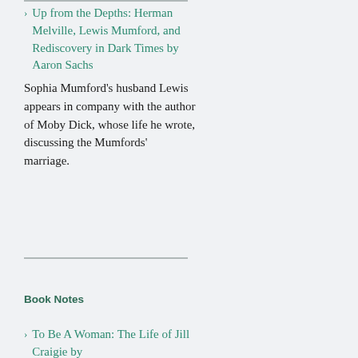Up from the Depths: Herman Melville, Lewis Mumford, and Rediscovery in Dark Times by Aaron Sachs — Sophia Mumford's husband Lewis appears in company with the author of Moby Dick, whose life he wrote, discussing the Mumfords' marriage.
Book Notes
To Be A Woman: The Life of Jill Craigie by